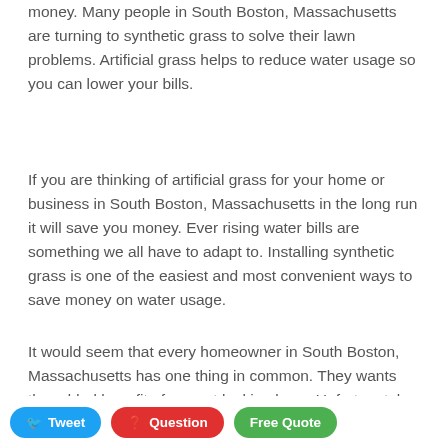money. Many people in South Boston, Massachusetts are turning to synthetic grass to solve their lawn problems. Artificial grass helps to reduce water usage so you can lower your bills.
If you are thinking of artificial grass for your home or business in South Boston, Massachusetts in the long run it will save you money. Ever rising water bills are something we all have to adapt to. Installing synthetic grass is one of the easiest and most convenient ways to save money on water usage.
It would seem that every homeowner in South Boston, Massachusetts has one thing in common. They wants the added benefit of a great looking lawn. Unfortunately, having a well groomed yard space is often prohibitively expensive... almost impossible to lower lawn maintenance bills.
Tweet | Question | Free Quote